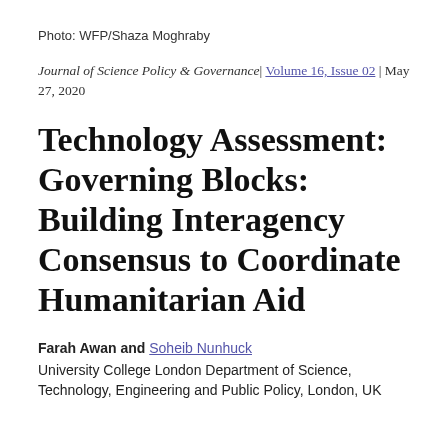Photo: WFP/Shaza Moghraby
Journal of Science Policy & Governance | Volume 16, Issue 02 | May 27, 2020
Technology Assessment: Governing Blocks: Building Interagency Consensus to Coordinate Humanitarian Aid
Farah Awan and Soheib Nunhuck
University College London Department of Science, Technology, Engineering and Public Policy, London, UK